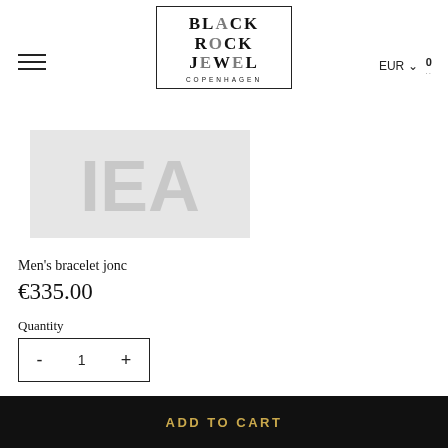[Figure (logo): Black Rock Jewel Copenhagen logo in a bordered box with stylized lettering]
[Figure (photo): Product image placeholder – faded grey rectangle with watermark-style graphic]
Men's bracelet jonc
€335.00
Quantity
- 1 +
ADD TO CART